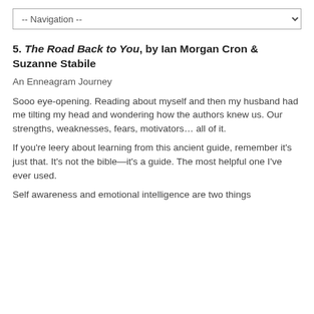-- Navigation --
5. The Road Back to You, by Ian Morgan Cron & Suzanne Stabile
An Enneagram Journey
Sooo eye-opening. Reading about myself and then my husband had me tilting my head and wondering how the authors knew us. Our strengths, weaknesses, fears, motivators… all of it.
If you're leery about learning from this ancient guide, remember it's just that. It's not the bible—it's a guide. The most helpful one I've ever used.
Self awareness and emotional intelligence are two things